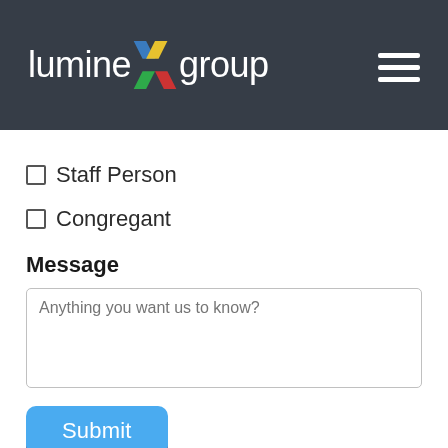[Figure (logo): LumineX Group logo with colorful X graphic on dark header background, with hamburger menu icon on the right]
Staff Person
Congregant
Message
Anything you want us to know?
Submit